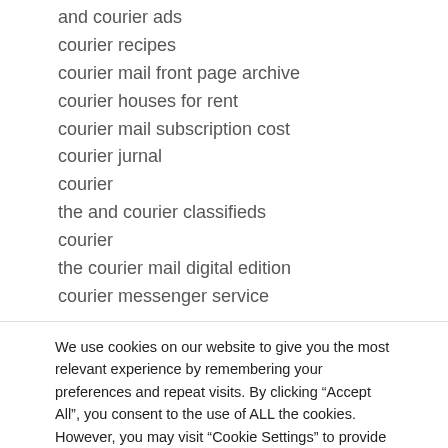and courier ads
courier recipes
courier mail front page archive
courier houses for rent
courier mail subscription cost
courier jurnal
courier
the and courier classifieds
courier
the courier mail digital edition
courier messenger service
We use cookies on our website to give you the most relevant experience by remembering your preferences and repeat visits. By clicking “Accept All”, you consent to the use of ALL the cookies. However, you may visit “Cookie Settings” to provide a controlled consent.
Cookie Settings | Accept All | Privacy Policy